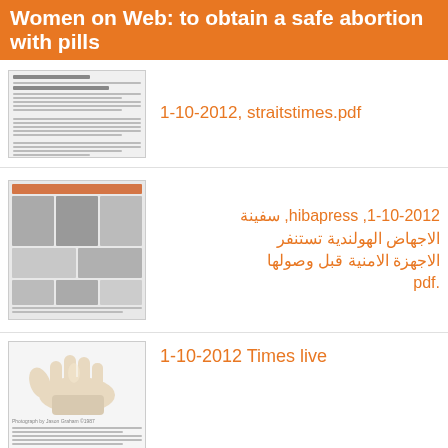Women on Web: to obtain a safe abortion with pills
[Figure (screenshot): Thumbnail of a document page with text lines]
1-10-2012, straitstimes.pdf
[Figure (screenshot): Thumbnail of hibapress Arabic news website with images and Arabic text]
1-10-2012, hibapress, سفينة الاجهاض الهولندية تستنفر الاجهزة الامنية قبل وصولها.pdf
[Figure (photo): Photo of a hand wearing a latex glove]
1-10-2012 Times live